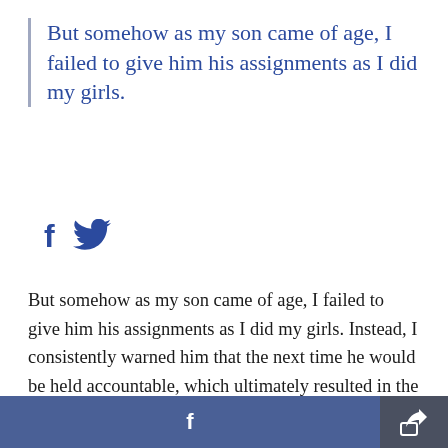But somehow as my son came of age, I failed to give him his assignments as I did my girls.
[Figure (other): Facebook and Twitter social share icons in blue]
But somehow as my son came of age, I failed to give him his assignments as I did my girls. Instead, I consistently warned him that the next time he would be held accountable, which ultimately resulted in the cleaning fairy comment a few weeks ago, and my wake-up call. Ever since, I have been correcting the situation, gradually, so he doesn't
[Figure (other): Bottom footer bar with Facebook share button and a share/export icon button]